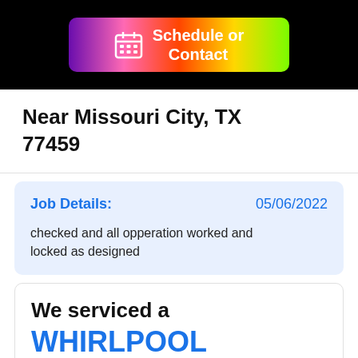[Figure (other): Schedule or Contact button with gradient background (purple to green) and calendar icon]
Near Missouri City, TX 77459
Job Details:   05/06/2022

checked and all opperation worked and locked as designed
We serviced a
WHIRLPOOL